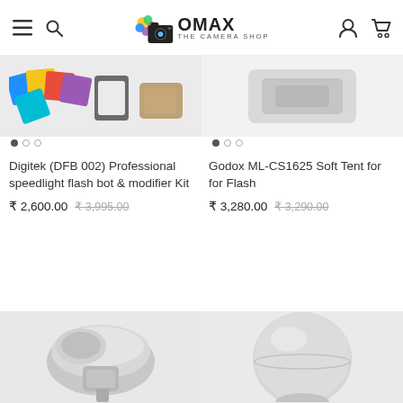OMAX The Camera Shop – Navigation header with hamburger menu, search icon, logo, user icon, and cart icon
[Figure (photo): Partial product image of Digitek DFB 002 flash modifier kit accessories (color gels, bracket, pouch)]
[Figure (photo): Partial product image of Godox ML-CS1625 Soft Tent for Flash]
Digitek (DFB 002) Professional speedlight flash bot & modifier Kit
₹ 2,600.00  ₹ 3,995.00
Godox ML-CS1625 Soft Tent for for Flash
₹ 3,280.00  ₹ 3,290.00
[Figure (photo): Bottom product image (left) – white flash diffuser/bouncer accessory on white background]
[Figure (photo): Bottom product image (right) – round white spherical flash diffuser on white background]